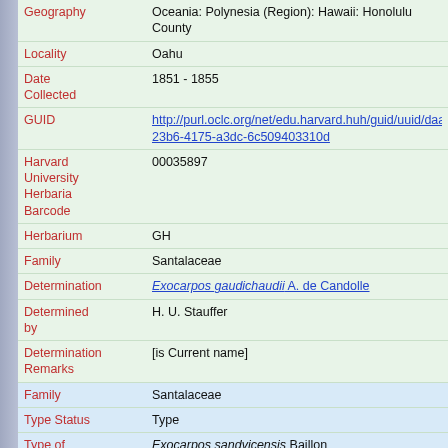Geography: Oceania: Polynesia (Region): Hawaii: Honolulu County
Locality: Oahu
Date Collected: 1851 - 1855
GUID: http://purl.oclc.org/net/edu.harvard.huh/guid/uuid/daa23b6-4175-a3dc-6c509403310d
Harvard University Herbaria Barcode: 00035897
Herbarium: GH
Family: Santalaceae
Determination: Exocarpos gaudichaudii A. de Candolle
Determined by: H. U. Stauffer
Determination Remarks: [is Current name]
Family: Santalaceae
Type Status: Type
Type of: Exocarpos sandvicensis Baillon
Taxon Reference: (for Exocarpos sandvicensis Baillon) Adansonia 1862: 109.